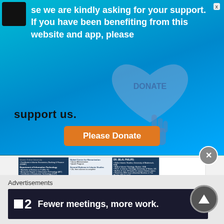se we are kindly asking for your support. If you have been benefiting from this website and app, please
[Figure (illustration): Heart shape with DONATE text inside, with a cursor/pointer hand icon below it, rendered in light blue/purple translucent style on blue gradient background]
support us.
Please Donate
[Figure (screenshot): Partially visible institution card showing IOU Islamic Online University information with Dr. Bilal Philips credentials]
Advertisements
[Figure (screenshot): Dark advertisement banner showing a logo with number 2 and text: Fewer meetings, more work.]